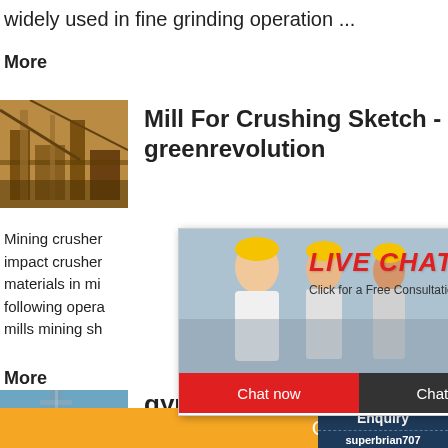widely used in fine grinding operation ...
More
[Figure (photo): Industrial crushing/mining equipment photo]
Mill For Crushing Sketch - greenrevolution
Mining crusher impact crusher materials in mi following opera mills mining sh
More
[Figure (infographic): Live Chat popup overlay with workers photo, LIVE CHAT heading, Chat now and Chat later buttons]
[Figure (photo): Industrial facility/tower photo]
gyratory crushe crusher ukraine
Chat Online
hour online
Click me to chat
Enquiry
superbrian707